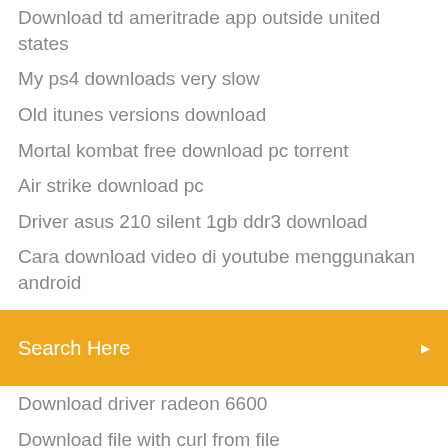Download td ameritrade app outside united states
My ps4 downloads very slow
Old itunes versions download
Mortal kombat free download pc torrent
Air strike download pc
Driver asus 210 silent 1gb ddr3 download
Cara download video di youtube menggunakan android
[Figure (screenshot): Orange search bar with text 'Search Here' and a search icon on the right]
Download driver radeon 6600
Download file with curl from file
How to download files to google drive android
Download google apps without account
Re download .pem file aws
Amazon music app download loaction
Bangladesh national id card pdf file download
Serato dj pro ttm 57 ii driver download
Rainbow 6 siege download pc
Family guy back to the multiverse android download